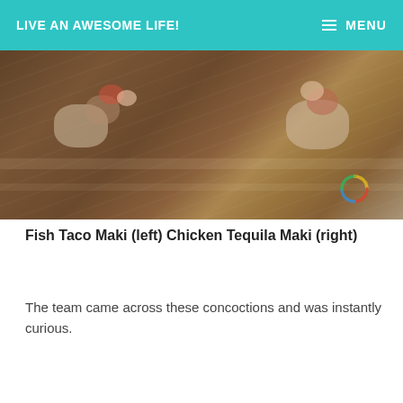LIVE AN AWESOME LIFE!  MENU
[Figure (photo): Overhead photo of fish taco maki and chicken tequila maki rolls on a wooden board, with a colorful circular watermark logo in the lower right of the image.]
Fish Taco Maki (left) Chicken Tequila Maki (right)
The team came across these concoctions and was instantly curious.